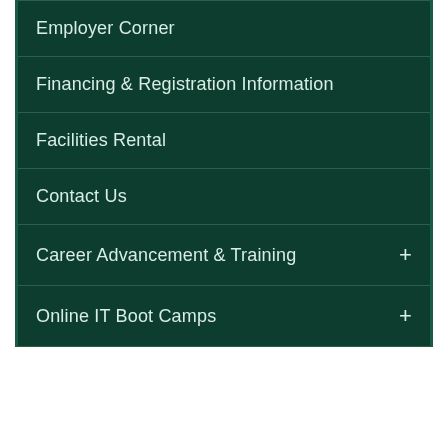Employer Corner
Financing & Registration Information
Facilities Rental
Contact Us
Career Advancement & Training +
Online IT Boot Camps +
GENERAL INFO ∨
[Figure (logo): reCAPTCHA badge with circular arrow icon and Privacy · Terms text]